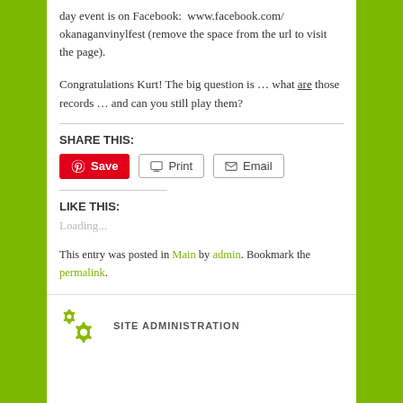day event is on Facebook:  www.facebook.com/okanaganvinylfest (remove the space from the url to visit the page).
Congratulations Kurt! The big question is … what are those records … and can you still play them?
SHARE THIS:
Save | Print | Email
LIKE THIS:
Loading...
This entry was posted in Main by admin. Bookmark the permalink.
SITE ADMINISTRATION